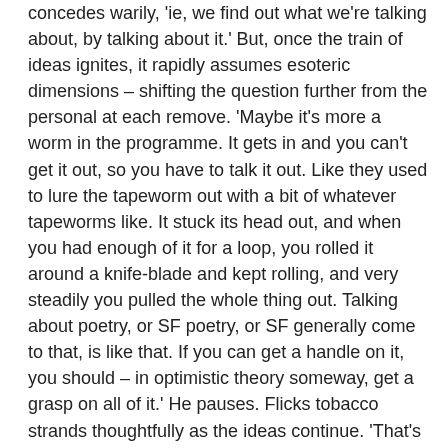concedes warily, 'ie, we find out what we're talking about, by talking about it.' But, once the train of ideas ignites, it rapidly assumes esoteric dimensions – shifting the question further from the personal at each remove. 'Maybe it's more a worm in the programme. It gets in and you can't get it out, so you have to talk it out. Like they used to lure the tapeworm out with a bit of whatever tapeworms like. It stuck its head out, and when you had enough of it for a loop, you rolled it around a knife-blade and kept rolling, and very steadily you pulled the whole thing out. Talking about poetry, or SF poetry, or SF generally come to that, is like that. If you can get a handle on it, you should – in optimistic theory someway, get a grasp on all of it.' He pauses. Flicks tobacco strands thoughtfully as the ideas continue. 'That's assuming...' he elaborates, 'that it isn't so busy quick-silvering and changing that what you've got is the dead skin it just shed. To switch metaphors from tapeworm to snake...', and he starts again to explain further why poetry cannot be explained.
Perhaps you were aware that – further to his 'Amazing Stories' interview, Steve Sneyd was nominated, or elected, or appointed as 'Grand Master of SF Poetry', so some kind